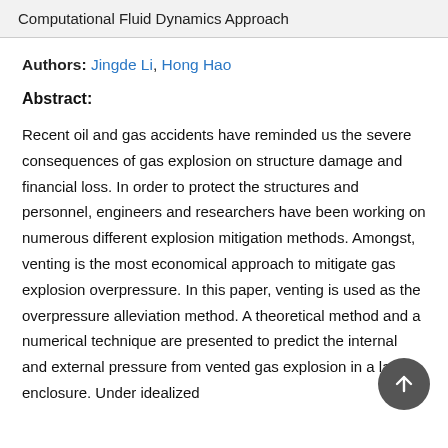Computational Fluid Dynamics Approach
Authors: Jingde Li, Hong Hao
Abstract:
Recent oil and gas accidents have reminded us the severe consequences of gas explosion on structure damage and financial loss. In order to protect the structures and personnel, engineers and researchers have been working on numerous different explosion mitigation methods. Amongst, venting is the most economical approach to mitigate gas explosion overpressure. In this paper, venting is used as the overpressure alleviation method. A theoretical method and a numerical technique are presented to predict the internal and external pressure from vented gas explosion in a large enclosure. Under idealized conditions, the fundamental governing equations...